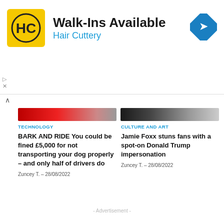[Figure (advertisement): Hair Cuttery advertisement banner with logo, 'Walk-Ins Available' headline, and navigation icon]
TECHNOLOGY
BARK AND RIDE You could be fined £5,000 for not transporting your dog properly – and only half of drivers do
Zuncey T.  –  28/08/2022
CULTURE AND ART
Jamie Foxx stuns fans with a spot-on Donald Trump impersonation
Zuncey T.  –  28/08/2022
- Advertisement -